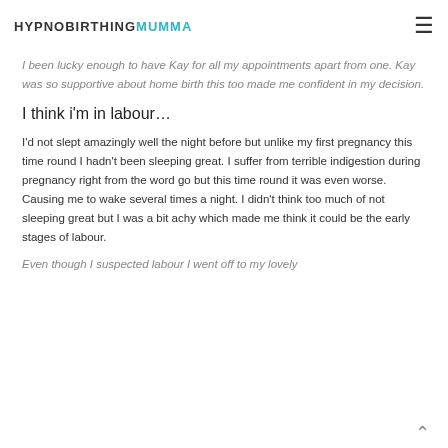HYPNOBIRTHINGMUMMA ☰
I been lucky enough to have Kay for all my appointments apart from one. Kay was so supportive about home birth this too made me confident in my decision.
I think i'm in labour…
I'd not slept amazingly well the night before but unlike my first pregnancy this time round I hadn't been sleeping great. I suffer from terrible indigestion during pregnancy right from the word go but this time round it was even worse. Causing me to wake several times a night. I didn't think too much of not sleeping great but I was a bit achy which made me think it could be the early stages of labour.
Even though I suspected labour I went off to my lovely